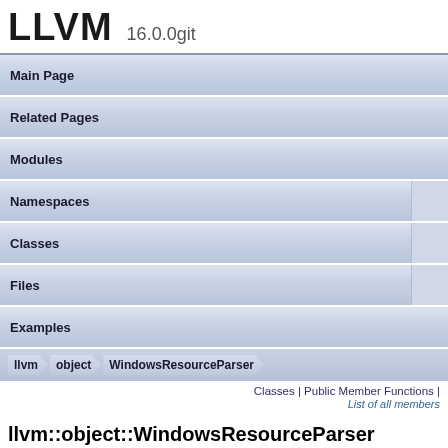LLVM 16.0.0git
Main Page
Related Pages
Modules
Namespaces
Classes
Files
Examples
llvm  object  WindowsResourceParser
Classes | Public Member Functions |
List of all members
llvm::object::WindowsResourceParser Class Reference